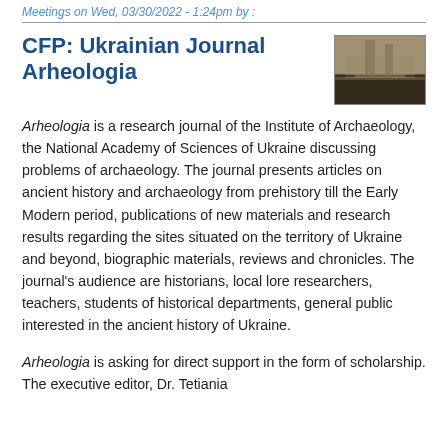Meetings on Wed, 03/30/2022 - 1:24pm by :
CFP: Ukrainian Journal Arheologia
[Figure (photo): Small thumbnail photograph showing an archaeological or ancient site scene, sepia/dark tones]
Arheologia is a research journal of the Institute of Archaeology, the National Academy of Sciences of Ukraine discussing problems of archaeology. The journal presents articles on ancient history and archaeology from prehistory till the Early Modern period, publications of new materials and research results regarding the sites situated on the territory of Ukraine and beyond, biographic materials, reviews and chronicles. The journal's audience are historians, local lore researchers, teachers, students of historical departments, general public interested in the ancient history of Ukraine.
Arheologia is asking for direct support in the form of scholarship. The executive editor, Dr. Tetiania